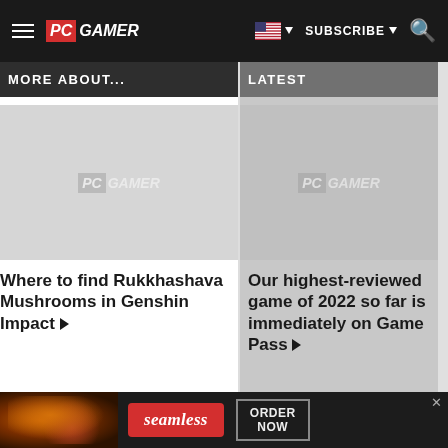PC GAMER — SUBSCRIBE — Search
MORE ABOUT...
LATEST
[Figure (logo): PC Gamer placeholder image left column]
Where to find Rukkhashava Mushrooms in Genshin Impact ▶
[Figure (logo): PC Gamer placeholder image right column]
Our highest-reviewed game of 2022 so far is immediately on Game Pass ▶
[Figure (photo): Seamless food delivery advertisement banner with pizza image, seamless logo, and ORDER NOW button]